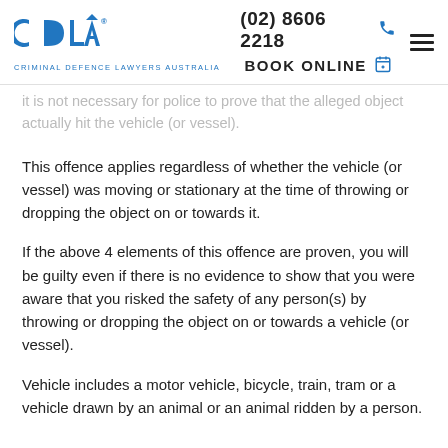CDLA® CRIMINAL DEFENCE LAWYERS AUSTRALIA | (02) 8606 2218 | BOOK ONLINE
it is not necessary for police to prove that the alleged object actually hit the vehicle (or vessel).
This offence applies regardless of whether the vehicle (or vessel) was moving or stationary at the time of throwing or dropping the object on or towards it.
If the above 4 elements of this offence are proven, you will be guilty even if there is no evidence to show that you were aware that you risked the safety of any person(s) by throwing or dropping the object on or towards a vehicle (or vessel).
Vehicle includes a motor vehicle, bicycle, train, tram or a vehicle drawn by an animal or an animal ridden by a person.